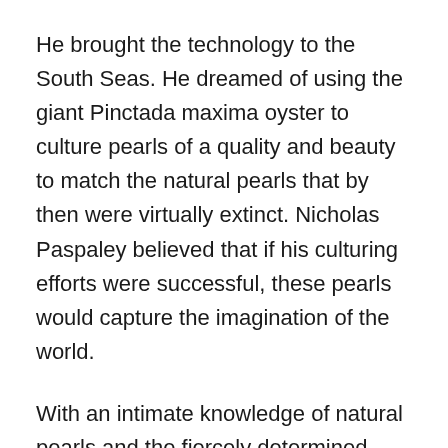He brought the technology to the South Seas. He dreamed of using the giant Pinctada maxima oyster to culture pearls of a quality and beauty to match the natural pearls that by then were virtually extinct. Nicholas Paspaley believed that if his culturing efforts were successful, these pearls would capture the imagination of the world.
With an intimate knowledge of natural pearls and the fiercely determined nature of Nick led to the establishment of Australia's first pearl farm in 1956 taking the Paspaley name to the top of the pearling industry.
Paspaley as a brand believes in creative collaborations with leading designers around the world for trends that ultimately inspire and influence design innovation. Nick's vision of Paspaley becoming the world's leading producer